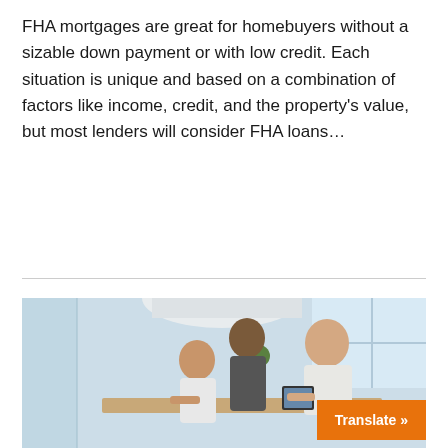FHA mortgages are great for homebuyers without a sizable down payment or with low credit. Each situation is unique and based on a combination of factors like income, credit, and the property's value, but most lenders will consider FHA loans…
Read More
[Figure (photo): Photo of a family (woman and man) and a professional man reviewing documents on a tablet in a bright kitchen setting.]
Translate »